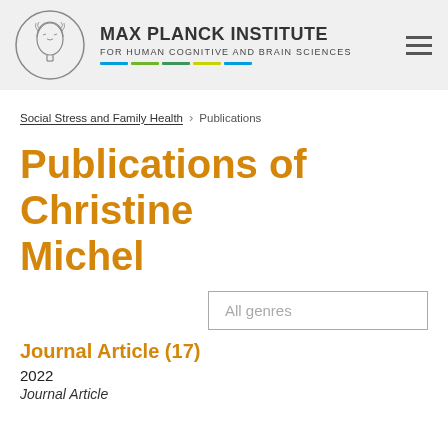[Figure (logo): Max Planck Institute logo with circular emblem of Minerva head and institute name with colored bars]
Social Stress and Family Health > Publications
Publications of Christine Michel
All genres
Journal Article (17)
2022
Journal Article